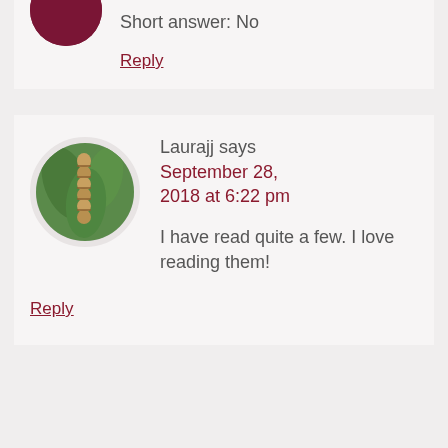Short answer: No
Reply
[Figure (photo): Circular avatar photo showing a caterpillar on green leaves]
Laurajj says
September 28, 2018 at 6:22 pm
I have read quite a few. I love reading them!
Reply